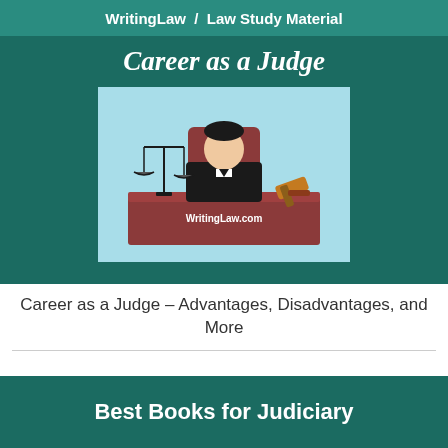WritingLaw  /  Law Study Material
[Figure (illustration): Illustration of a judge sitting at a wooden bench with scales of justice on the left and a gavel on the right, on a light blue background. Text 'WritingLaw.com' on the bench. Title 'Career as a Judge' in white italic text above.]
Career as a Judge – Advantages, Disadvantages, and More
Best Books for Judiciary